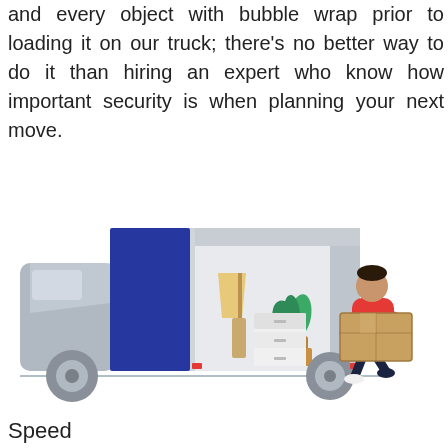and every object with bubble wrap prior to loading it on our truck; there's no better way to do it than hiring an expert who know how important security is when planning your next move.
[Figure (illustration): Illustration of a moving truck with its cargo doors open, showing furniture inside (lamp, plant, dresser), and a person in a red jacket carrying a cardboard box walking toward the truck.]
Speed